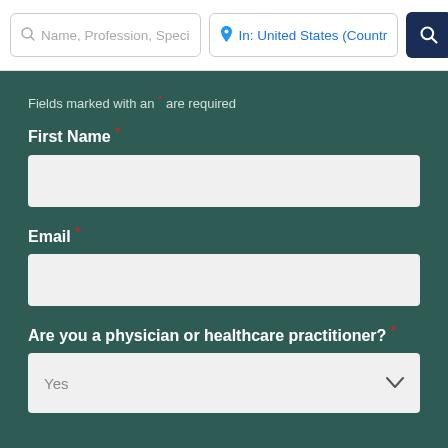[Figure (screenshot): Search bar with 'Name, Profession, Speci' placeholder text input, location input showing 'In: United States (Countr' in blue, and a dark navy search button with magnifying glass icon]
Fields marked with an * are required
First Name *
Email *
Are you a physician or healthcare practitioner? *
Yes